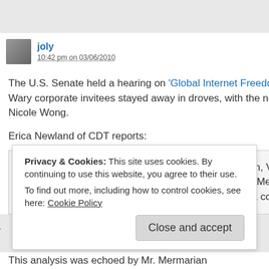joly — 10:42 pm on 03/06/2010
The U.S. Senate held a hearing on 'Global Internet Freedom and the Rule of Law, Part II' last week. Wary corporate invitees stayed away in droves, with the notable exception of Google who sent VP Nicole Wong.
Erica Newland of CDT reports:
Ms. Wong and fellow witnesses Rebecca MacKinnon, Visiting Fellow at Princeton University's Center for Information Technology Policy, and Omid Mermarian, an Iranian blogger now living in San Francisco, all mentioned US trade policy as a cornerstone in the battle…
Privacy & Cookies: This site uses cookies. By continuing to use this website, you agree to their use.
To find out more, including how to control cookies, see here: Cookie Policy
This analysis was echoed by Mr. Mermarian…